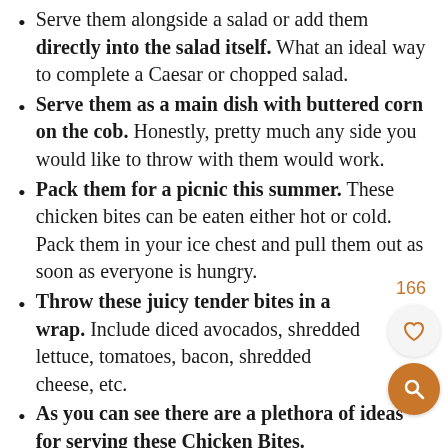Serve them alongside a salad or add them directly into the salad itself. What an ideal way to complete a Caesar or chopped salad.
Serve them as a main dish with buttered corn on the cob. Honestly, pretty much any side you would like to throw with them would work.
Pack them for a picnic this summer. These chicken bites can be eaten either hot or cold. Pack them in your ice chest and pull them out as soon as everyone is hungry.
Throw these juicy tender bites in a wrap. Include diced avocados, shredded lettuce, tomatoes, bacon, shredded cheese, etc.
As you can see there are a plethora of ideas for serving these Chicken Bites.